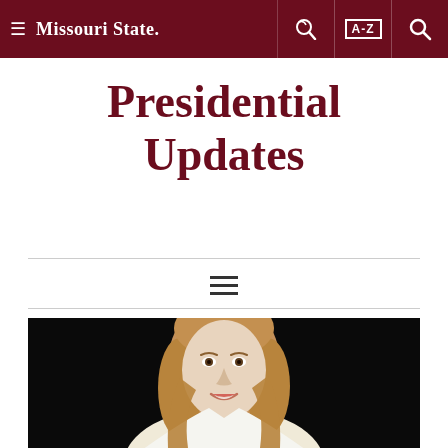Missouri State — Presidential Updates page navigation bar
Presidential Updates
[Figure (photo): Portrait photo of a woman with shoulder-length brown hair, smiling, wearing a white top, against a black background]